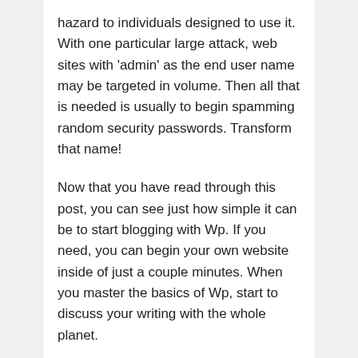hazard to individuals designed to use it. With one particular large attack, web sites with 'admin' as the end user name may be targeted in volume. Then all that is needed is usually to begin spamming random security passwords. Transform that name!
Now that you have read through this post, you can see just how simple it can be to start blogging with Wp. If you need, you can begin your own website inside of just a couple minutes. When you master the basics of Wp, start to discuss your writing with the whole planet.
Filed Under: ComputersGames